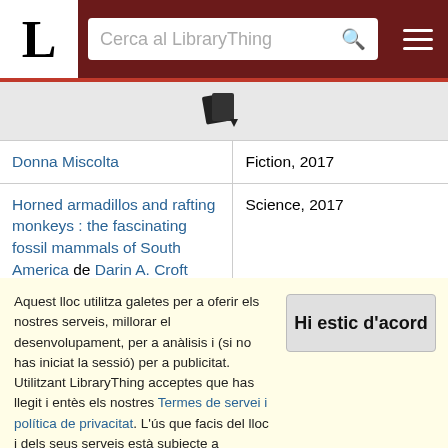[Figure (screenshot): LibraryThing website header with logo 'L', search bar 'Cerca al LibraryThing', and hamburger menu icon]
[Figure (other): Small book/export icon in gray area]
| Book | Category/Year |
| --- | --- |
| Donna Miscolta | Fiction, 2017 |
| Horned armadillos and rafting monkeys : the fascinating fossil mammals of South America de Darin A. Croft | Science, 2017 |
| Hot Season de Susan | West-Mountain – Best Regional |
Aquest lloc utilitza galetes per a oferir els nostres serveis, millorar el desenvolupament, per a anàlisis i (si no has iniciat la sessió) per a publicitat. Utilitzant LibraryThing acceptes que has llegit i entès els nostres Termes de servei i política de privacitat. L'ús que facis del lloc i dels seus serveis està subjecte a aquestes polítiques i termes.